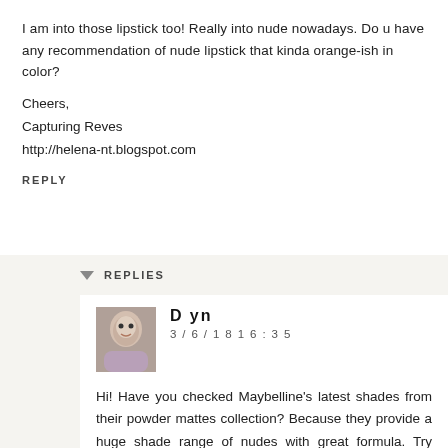I am into those lipstick too! Really into nude nowadays. Do u have any recommendation of nude lipstick that kinda orange-ish in color?
Cheers,
Capturing Reves
http://helena-nt.blogspot.com
REPLY
REPLIES
Dyn
3/6/18 16:35
Hi! Have you checked Maybelline's latest shades from their powder mattes collection? Because they provide a huge shade range of nudes with great formula. Try them!